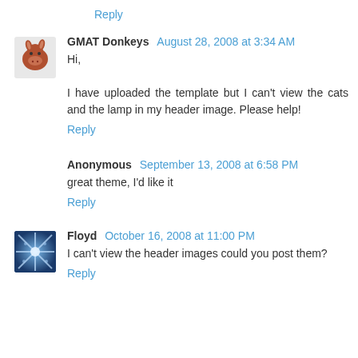Reply
GMAT Donkeys  August 28, 2008 at 3:34 AM
Hi,

I have uploaded the template but I can't view the cats and the lamp in my header image. Please help!
Reply
Anonymous  September 13, 2008 at 6:58 PM
great theme, I'd like it
Reply
Floyd  October 16, 2008 at 11:00 PM
I can't view the header images could you post them?
Reply